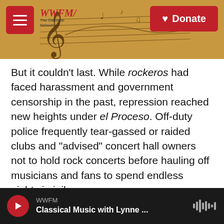WWFM The Classical Network — Donate
But it couldn't last. While rockeros had faced harassment and government censorship in the past, repression reached new heights under el Proceso. Off-duty police frequently tear-gassed or raided clubs and "advised" concert hall owners not to hold rock concerts before hauling off musicians and fans to spend endless nights in jail.
In Spinetta: crónica e iluminaciones, Luis Alberto Spinetta, one of the country's most celebrated musicians, recalls: "In 1977 they took me prisoner without rhyme or reason with other musicians like
WWFM — Classical Music with Lynne ...